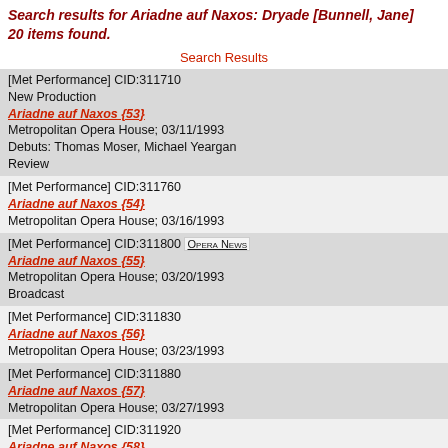Search results for Ariadne auf Naxos: Dryade [Bunnell, Jane] 20 items found.
Search Results
[Met Performance] CID:311710
New Production
Ariadne auf Naxos {53}
Metropolitan Opera House; 03/11/1993
Debuts: Thomas Moser, Michael Yeargan
Review
[Met Performance] CID:311760
Ariadne auf Naxos {54}
Metropolitan Opera House; 03/16/1993
[Met Performance] CID:311800 Opera News
Ariadne auf Naxos {55}
Metropolitan Opera House; 03/20/1993
Broadcast
[Met Performance] CID:311830
Ariadne auf Naxos {56}
Metropolitan Opera House; 03/23/1993
[Met Performance] CID:311880
Ariadne auf Naxos {57}
Metropolitan Opera House; 03/27/1993
[Met Performance] CID:311920
Ariadne auf Naxos {58}
Metropolitan Opera House; 04/1/1993
[Met Performance] CID:316030
Ariadne auf Naxos {60}